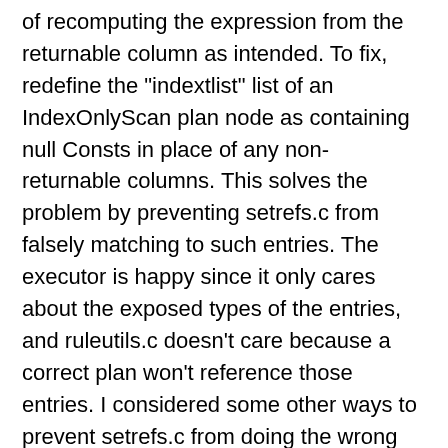of recomputing the expression from the returnable column as intended. To fix, redefine the "indextlist" list of an IndexOnlyScan plan node as containing null Consts in place of any non-returnable columns. This solves the problem by preventing setrefs.c from falsely matching to such entries. The executor is happy since it only cares about the exposed types of the entries, and ruleutils.c doesn't care because a correct plan won't reference those entries. I considered some other ways to prevent setrefs.c from doing the wrong thing, but this way seems good since (a) it allows a very localized fix, (b) it makes the indextlist structure more compact in many cases, and (c) the indextlist is now a more faithful representation of what the index AM will actually produce, viz. nulls for any non-returnable columns. This is easier to hit since we introduced included columns, but it's possible to construct failing examples without that, as per the added regression test. Hence, back-patch to all